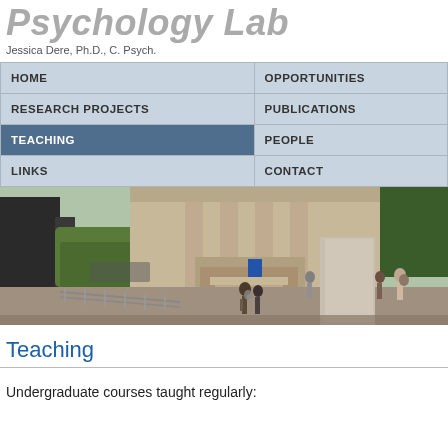Psychology Lab
Jessica Dere, Ph.D., C. Psych.
| Column 1 | Column 2 |
| --- | --- |
| HOME | OPPORTUNITIES |
| RESEARCH PROJECTS | PUBLICATIONS |
| TEACHING | PEOPLE |
| LINKS | CONTACT |
[Figure (photo): University building exterior with students walking on campus pathway, trees and bicycle racks visible]
Teaching
Undergraduate courses taught regularly: